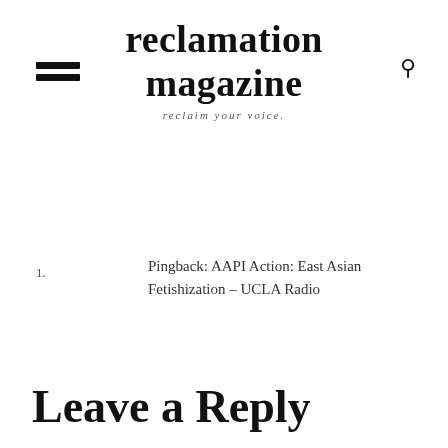reclamation magazine
reclaim your voice.
1.
Pingback: AAPI Action: East Asian Fetishization – UCLA Radio
Leave a Reply